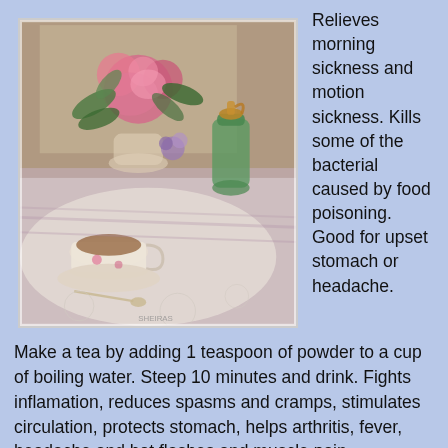[Figure (illustration): Watercolor painting of a tea table scene with a teacup and saucer, floral arrangement with pink roses, and a green glass spray bottle on a lace tablecloth]
Relieves morning sickness and motion sickness. Kills some of the bacterial caused by food poisoning. Good for upset stomach or headache. Make a tea by adding 1 teaspoon of powder to a cup of boiling water. Steep 10 minutes and drink. Fights inflamation, reduces spasms and cramps, stimulates circulation, protects stomach, helps arthritis, fever, headache and hot flashes and muscle pain.
Sage: Reduce menopausal hot flashes and night sweats by drinking a cup of sage tea three times a day. Add 1/2 teaspoon of sage to 1 cup boiling water, steep 10 minutes,